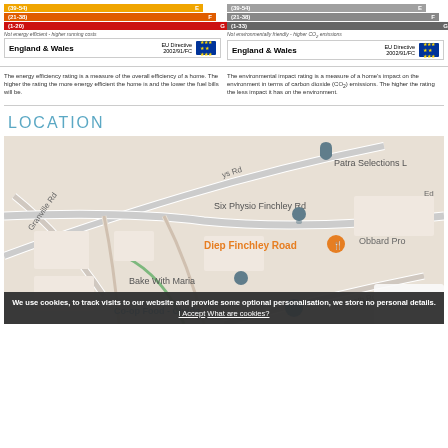[Figure (infographic): Two EPC (Energy Performance Certificate) panels side by side: left shows energy efficiency rating with bars E, F, G in orange/red; right shows environmental impact rating with grey bars E, F, G. Each panel has England & Wales EU Directive 2002/91/FC footer.]
The energy efficiency rating is a measure of the overall efficiency of a home. The higher the rating the more energy efficient the home is and the lower the fuel bills will be.
The environmental impact rating is a measure of a home's impact on the environment in terms of carbon dioxide (CO2) emissions. The higher the rating the less impact it has on the environment.
LOCATION
[Figure (map): Google Maps screenshot showing area around Finchley Road, London. Visible labels include: Six Physio Finchley Rd, Diep Finchley Road, Bake With Maria, Co-op Food - Childs, Patra Selections L, Obbard Pro, W Heath Rd, Granville Rd, ys Rd, Ed.]
We use cookies, to track visits to our website and provide some optional personalisation, we store no personal details. I Accept What are cookies?